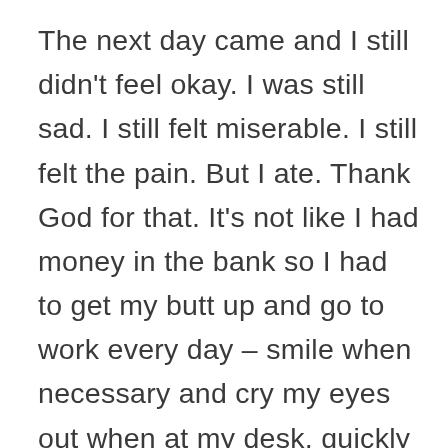The next day came and I still didn't feel okay. I was still sad. I still felt miserable. I still felt the pain. But I ate. Thank God for that. It's not like I had money in the bank so I had to get my butt up and go to work every day – smile when necessary and cry my eyes out when at my desk, quickly wiping away tears as they